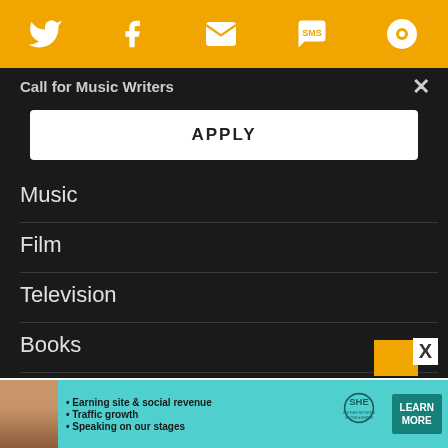[Figure (screenshot): Orange navigation bar with social media icons: Twitter, Facebook, Email, SMS, and another icon]
Call for Music Writers
APPLY
Music
Film
Television
Books
Culture
[Figure (infographic): SHE Partner Network advertisement banner with woman photo, bullet points: Earning site & social revenue, Traffic growth, Speaking on our stages, with LEARN MORE button and BECOME A MEMBER text]